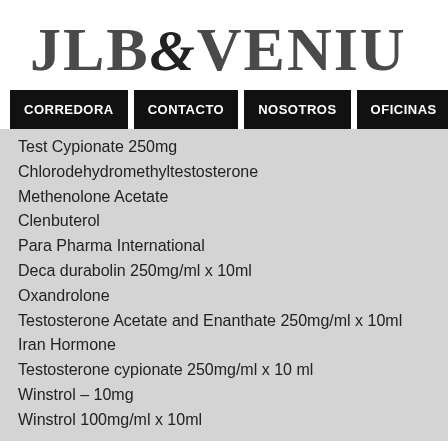[Figure (logo): JLB&VENIU company logo in large serif bold gray text]
CORREDORA | CONTACTO | NOSOTROS | OFICINAS | SERVICI...
Test Cypionate 250mg
Chlorodehydromethyltestosterone
Methenolone Acetate
Clenbuterol
Para Pharma International
Deca durabolin 250mg/ml x 10ml
Oxandrolone
Testosterone Acetate and Enanthate 250mg/ml x 10ml
Iran Hormone
Testosterone cypionate 250mg/ml x 10 ml
Winstrol – 10mg
Winstrol 100mg/ml x 10ml